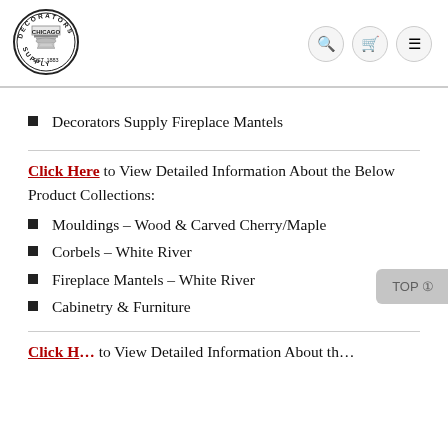[Figure (logo): Decorators Supply Chicago EST. 1883 circular logo with ornate column capital]
Decorators Supply Fireplace Mantels
Click Here to View Detailed Information About the Below Product Collections:
Mouldings – Wood & Carved Cherry/Maple
Corbels – White River
Fireplace Mantels – White River
Cabinetry & Furniture
Click H... to View Detailed Information About th...